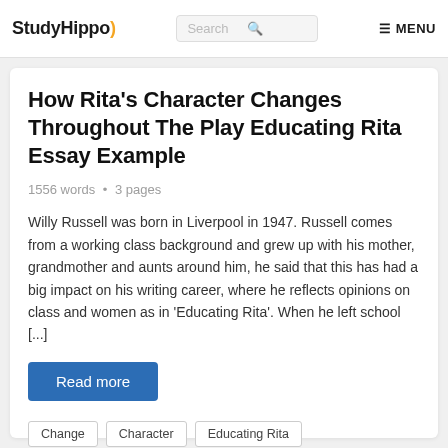StudyHippo | Search | MENU
How Rita's Character Changes Throughout The Play Educating Rita Essay Example
1556 words • 3 pages
Willy Russell was born in Liverpool in 1947. Russell comes from a working class background and grew up with his mother, grandmother and aunts around him, he said that this has had a big impact on his writing career, where he reflects opinions on class and women as in 'Educating Rita'. When he left school [...]
Read more
Change
Character
Educating Rita